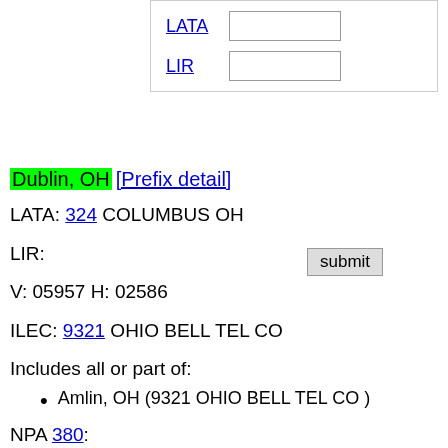LATA [input field]
LIR [input field]
submit
Dublin, OH [Prefix detail]
LATA: 324 COLUMBUS OH
LIR:
V: 05957 H: 02586
ILEC: 9321 OHIO BELL TEL CO
Includes all or part of:
Amlin, OH (9321 OHIO BELL TEL CO )
NPA 380: